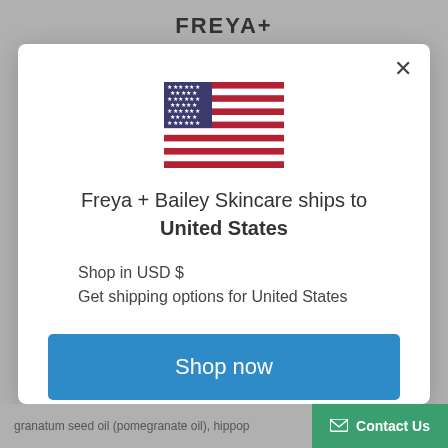FREYA+
[Figure (illustration): US flag emoji/illustration centered in modal]
Freya + Bailey Skincare ships to United States
Shop in USD $
Get shipping options for United States
Shop now
Change shipping country
granatum seed oil (pomegranate oil), hippop
Contact Us